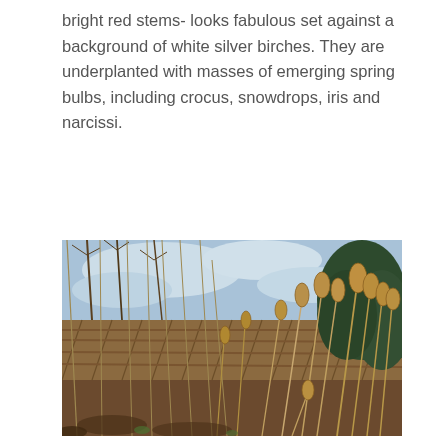bright red stems- looks fabulous set against a background of white silver birches. They are underplanted with masses of emerging spring bulbs, including crocus, snowdrops, iris and narcissi.
[Figure (photo): Outdoor garden scene in winter/early spring. Foreground shows dried teasel plants with spiky oval seed heads on tall thin stems. Behind them is a woven wicker/willow fence or hedge. Background shows bare deciduous trees with thin branches against a partly cloudy blue sky. To the right is dense evergreen shrubbery. The lighting is natural daylight.]